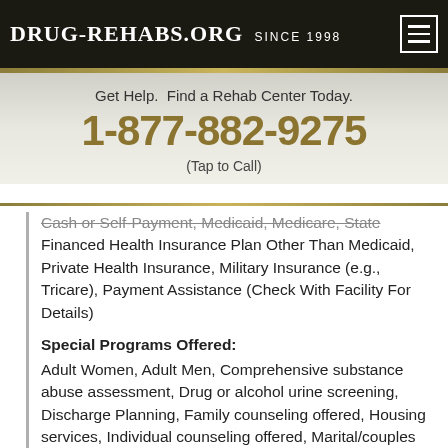DRUG-REHABS.ORG SINCE 1998
Get Help. Find a Rehab Center Today.
1-877-882-9275
(Tap to Call)
Cash or Self-Payment, Medicaid, Medicare, State Financed Health Insurance Plan Other Than Medicaid, Private Health Insurance, Military Insurance (e.g., Tricare), Payment Assistance (Check With Facility For Details)
Special Programs Offered:
Adult Women, Adult Men, Comprehensive substance abuse assessment, Drug or alcohol urine screening, Discharge Planning, Family counseling offered, Housing services, Individual counseling offered, Marital/couples counseling offered, Mental health services, Accepts clients on opioid medication, Substance abuse education, Screening for Hepatitis C, Screening for substance abuse, Treatment for